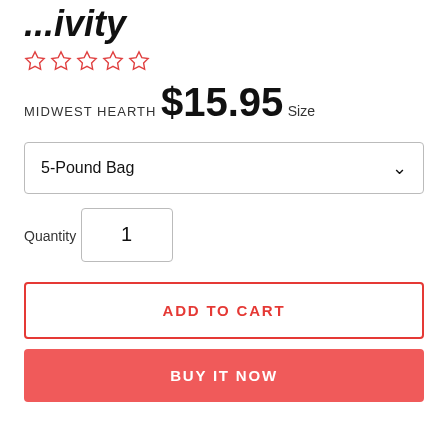...ivity
[Figure (other): Five empty star rating icons in red/orange outline]
MIDWEST HEARTH
$15.95
Size
5-Pound Bag
Quantity
1
ADD TO CART
BUY IT NOW